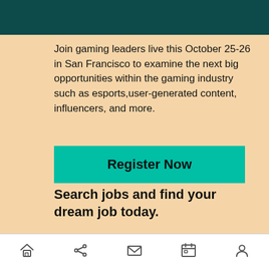[Figure (screenshot): Dark teal header bar at top of mobile app screen]
Join gaming leaders live this October 25-26 in San Francisco to examine the next big opportunities within the gaming industry such as esports,user-generated content, influencers, and more.
[Figure (other): Teal 'Register Now' button]
Search jobs and find your dream job today.